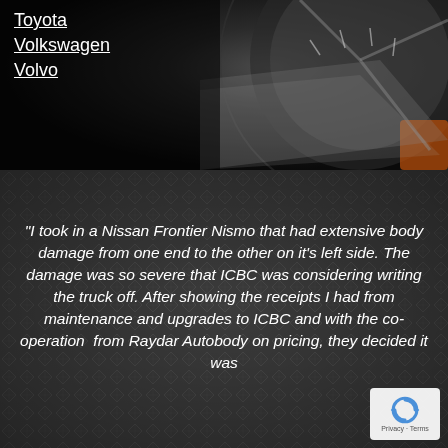Toyota
Volkswagen
Volvo
[Figure (photo): Close-up photograph of a car wheel/brake disc area, dark background, showing wheel rim and brake components]
“I took in a Nissan Frontier Nismo that had extensive body damage from one end to the other on it’s left side. The damage was so severe that ICBC was considering writing the truck off. After showing the receipts I had from maintenance and upgrades to ICBC and with the co-operation  from Raydar Autobody on pricing, they decided it was